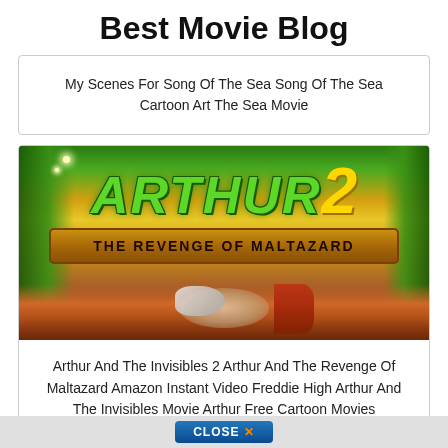Best Movie Blog
My Scenes For Song Of The Sea Song Of The Sea Cartoon Art The Sea Movie
[Figure (photo): Movie poster for Arthur 2: The Revenge of Maltazard showing the title in large green stylized letters on a yellow wooden banner, with green leaves in the background and a character with red/white hair at the bottom]
Arthur And The Invisibles 2 Arthur And The Revenge Of Maltazard Amazon Instant Video Freddie High Arthur And The Invisibles Movie Arthur Free Cartoon Movies
[Figure (screenshot): Bottom bar with a CLOSE X button in blue/orange on a grey background strip]